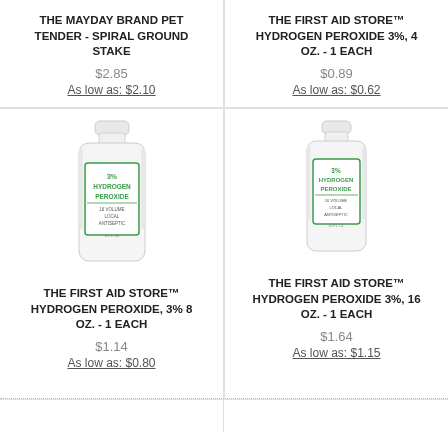THE MAYDAY BRAND PET TENDER - SPIRAL GROUND STAKE
$2.85
As low as: $2.10
THE FIRST AID STORE™ HYDROGEN PEROXIDE 3%, 4 OZ. - 1 EACH
$0.89
As low as: $0.62
[Figure (photo): White bottle of 3% Hydrogen Peroxide, 8 oz, labeled as local antiseptic]
THE FIRST AID STORE™ HYDROGEN PEROXIDE, 3% 8 OZ. - 1 EACH
$1.14
As low as: $0.80
[Figure (photo): White bottle of 3% Hydrogen Peroxide, 16 oz, labeled as local antiseptic]
THE FIRST AID STORE™ HYDROGEN PEROXIDE 3%, 16 OZ. - 1 EACH
$1.64
As low as: $1.15